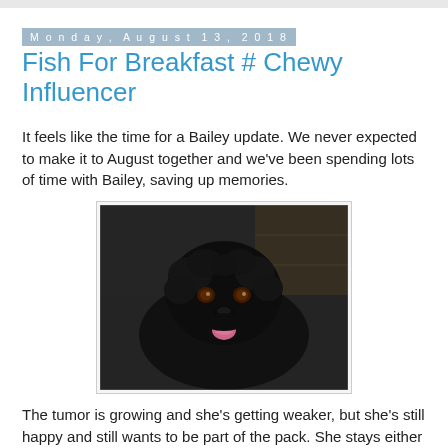Monday, August 13, 2018
Fish For Breakfast # Chewy Influencer
It feels like the time for a Bailey update. We never expected to make it to August together and we've been spending lots of time with Bailey, saving up memories.
[Figure (photo): A black fluffy dog (Bailey) looking up at the camera with its tongue out, appearing happy. The dog has curly/wavy black fur, brown eyes, and is photographed from above against a dark floor background.]
The tumor is growing and she's getting weaker, but she's still happy and still wants to be part of the pack. She stays either in her crate or in the big pen in the garage so that she